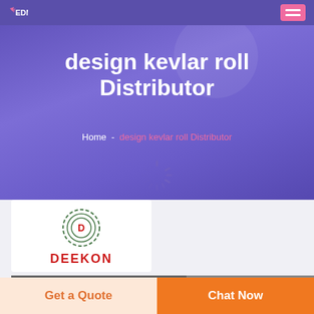EDM logo and navigation menu
design kevlar roll Distributor
Home  -  design kevlar roll Distributor
[Figure (logo): DEEKON company logo with circular badge and red text]
[Figure (photo): Product photo strip partially visible]
Get a Quote
Chat Now